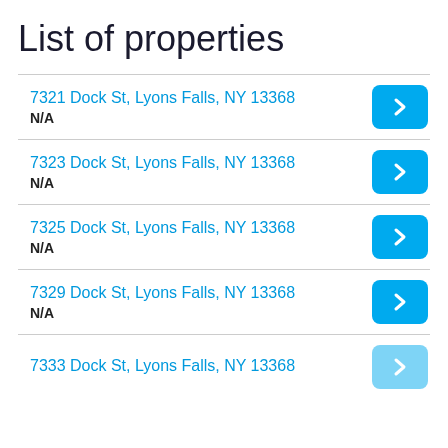List of properties
7321 Dock St, Lyons Falls, NY 13368
N/A
7323 Dock St, Lyons Falls, NY 13368
N/A
7325 Dock St, Lyons Falls, NY 13368
N/A
7329 Dock St, Lyons Falls, NY 13368
N/A
7333 Dock St, Lyons Falls, NY 13368